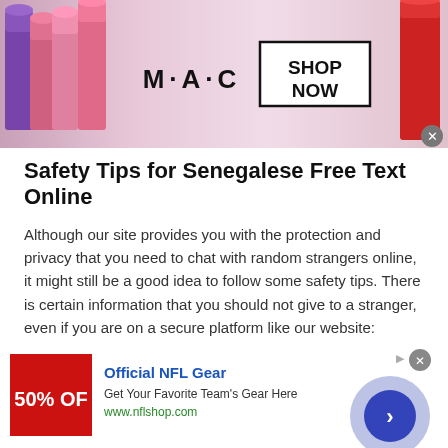[Figure (screenshot): MAC cosmetics advertisement banner with lipsticks on the left, MAC logo in center, and SHOP NOW button in a box on the right]
Safety Tips for Senegalese Free Text Online
Although our site provides you with the protection and privacy that you need to chat with random strangers online, it might still be a good idea to follow some safety tips. There is certain information that you should not give to a stranger, even if you are on a secure platform like our website:
Your real name
[Figure (screenshot): Official NFL Gear advertisement with red banner showing 50% OFF, NFL gear title in blue, subtitle text, and nflshop.com URL, with purple navigation circle on right]